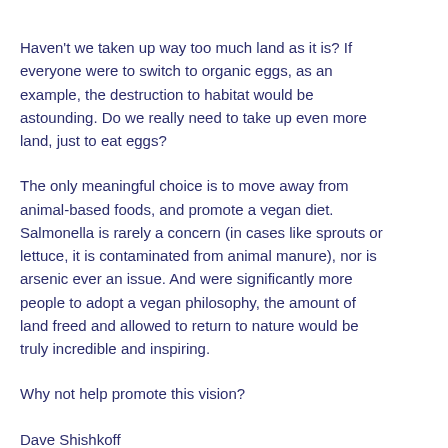Haven't we taken up way too much land as it is? If everyone were to switch to organic eggs, as an example, the destruction to habitat would be astounding. Do we really need to take up even more land, just to eat eggs?
The only meaningful choice is to move away from animal-based foods, and promote a vegan diet. Salmonella is rarely a concern (in cases like sprouts or lettuce, it is contaminated from animal manure), nor is arsenic ever an issue. And were significantly more people to adopt a vegan philosophy, the amount of land freed and allowed to return to nature would be truly incredible and inspiring.
Why not help promote this vision?
Dave Shishkoff
Canadian Correspondent
Friends of Animals